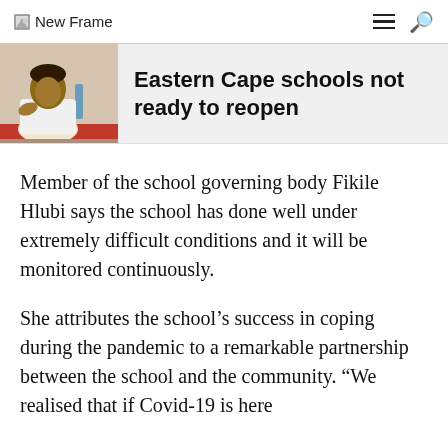New Frame
[Figure (photo): Photo of a woman seated at a table, appearing to speak or present]
Eastern Cape schools not ready to reopen
Member of the school governing body Fikile Hlubi says the school has done well under extremely difficult conditions and it will be monitored continuously.
She attributes the school's success in coping during the pandemic to a remarkable partnership between the school and the community. “We realised that if Covid-19 is here